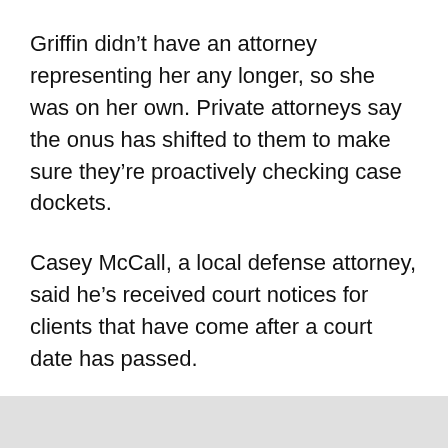Griffin didn't have an attorney representing her any longer, so she was on her own. Private attorneys say the onus has shifted to them to make sure they're proactively checking case dockets.
Casey McCall, a local defense attorney, said he's received court notices for clients that have come after a court date has passed.
“I’ve got dozens if not hundreds of cases with people that call me every couple of weeks asking when their case is going to be put back on,” he said. “It’s just frustrating.”